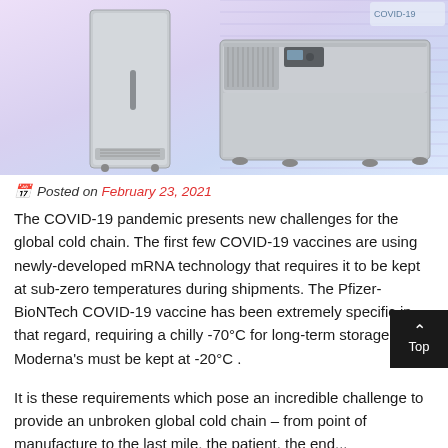[Figure (photo): Two ultra-low temperature freezers/refrigerators: a tall upright silver freezer on the left, and a large chest-style stainless steel freezer on the right, set against a light purple/blue circuit board background pattern.]
📅 Posted on February 23, 2021
The COVID-19 pandemic presents new challenges for the global cold chain. The first few COVID-19 vaccines are using newly-developed mRNA technology that requires it to be kept at sub-zero temperatures during shipments. The Pfizer-BioNTech COVID-19 vaccine has been extremely specific in that regard, requiring a chilly -70°C for long-term storage, while Moderna's must be kept at -20°C.
It is these requirements which pose an incredible challenge to provide an unbroken global cold chain – from point of manufacture to the last mile, the patient, the end...